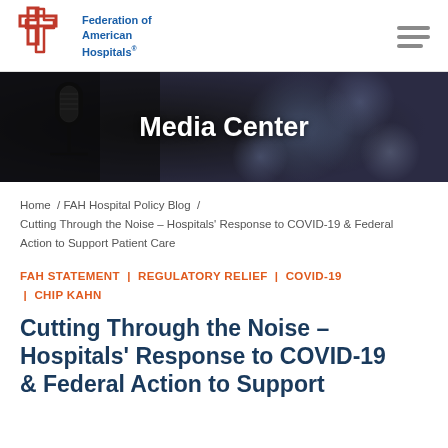[Figure (logo): Federation of American Hospitals logo with red cross shape and blue text]
[Figure (photo): Media Center banner with microphone in dark background with bokeh lighting]
Home / FAH Hospital Policy Blog / Cutting Through the Noise – Hospitals' Response to COVID-19 & Federal Action to Support Patient Care
FAH STATEMENT | REGULATORY RELIEF | COVID-19 | CHIP KAHN
Cutting Through the Noise – Hospitals' Response to COVID-19 & Federal Action to Support